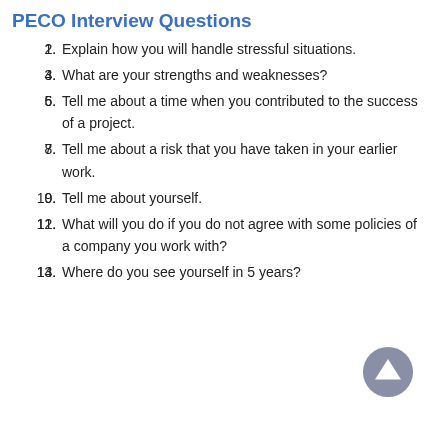PECO Interview Questions
1. Explain how you will handle stressful situations.
2. What are your strengths and weaknesses?
3. Tell me about a time when you contributed to the success of a project.
4. Tell me about a risk that you have taken in your earlier work.
5. Tell me about yourself.
6. What will you do if you do not agree with some policies of a company you work with?
7. Where do you see yourself in 5 years?
[Figure (other): Blue-grey circular up-arrow navigation button in bottom-right corner]